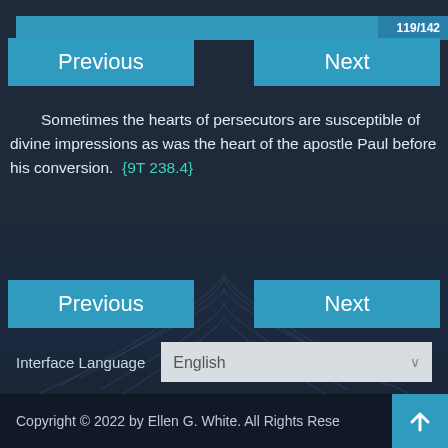119/142
[Figure (other): Previous and Next navigation buttons at top of page]
Sometimes the hearts of persecutors are susceptible of divine impressions as was the heart of the apostle Paul before his conversion. {9T 238.4}
[Figure (other): Previous and Next navigation buttons at bottom of page]
Interface Language English
Copyright © 2022 by Ellen G. White. All Rights Rese